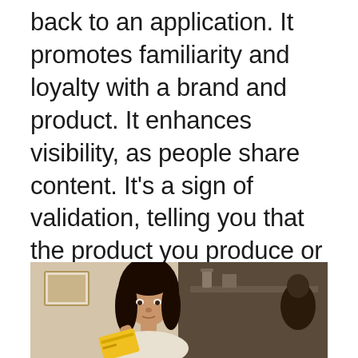back to an application. It promotes familiarity and loyalty with a brand and product. It enhances visibility, as people share content. It's a sign of validation, telling you that the product you produce or the way...
[Figure (photo): Photo of a young woman with dark hair holding a yellow credit card, looking at it. Background shows a room interior. Photo is cropped at bottom of page.]